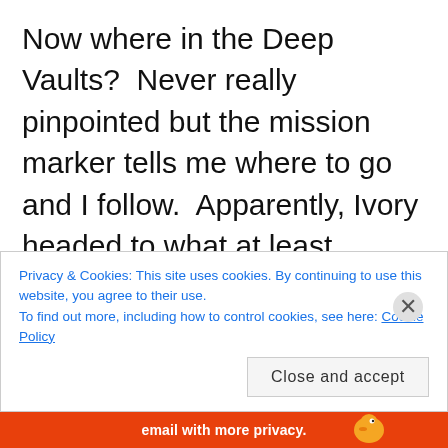Now where in the Deep Vaults?  Never really pinpointed but the mission marker tells me where to go and I follow.  Apparently, Ivory headed to what at least appears to be an ancient Rakata starship hanger complete with repaired starship.  I'm suddenly having flashbacks to the end of John Carpenter's The Thing.  Ivory says he's going to use this ancient starship (Up next on The History Channel) to blast off and leave Belsavis.  This
Privacy & Cookies: This site uses cookies. By continuing to use this website, you agree to their use.
To find out more, including how to control cookies, see here: Cookie Policy
Close and accept
email with more privacy.